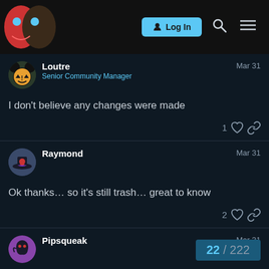Log In
Loutre
Senior Community Manager
Mar 31
I don't believe any changes were made
Raymond
Mar 31
Ok thanks… so it's still trash… great to know
Pipsqueak
Mar 31
22 / 222